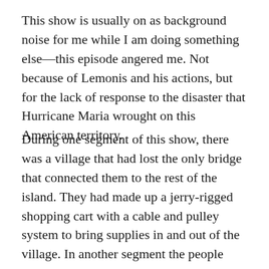This show is usually on as background noise for me while I am doing something else—this episode angered me. Not because of Lemonis and his actions, but for the lack of response to the disaster that Hurricane Maria wrought on this American territory.
During one segment of this show, there was a village that had lost the only bridge that connected them to the rest of the island. They had made up a jerry-rigged shopping cart with a cable and pulley system to bring supplies in and out of the village. In another segment the people living in another village dammed up the river so they could pour a homemade concrete mix to make a makeshift road through the river so they could come and go, albeit in four-wheel drive vehicles only. What made me so mad about this is that sitting in the United States are the resources to build temporary bridges, and